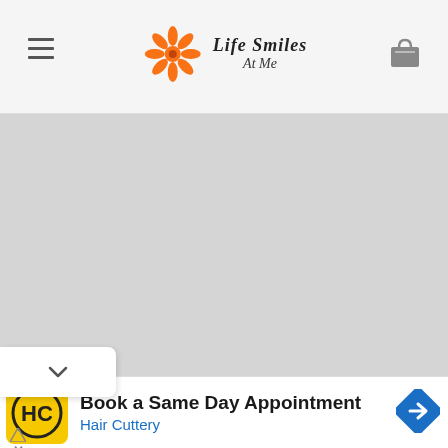Life Smiles At Me — navigation header with hamburger menu and shopping bag icon
[Figure (screenshot): Large gray placeholder area representing a loading or blank content section of a website]
[Figure (infographic): Advertisement for Hair Cuttery: 'Book a Same Day Appointment' with yellow HC logo and blue direction sign arrow]